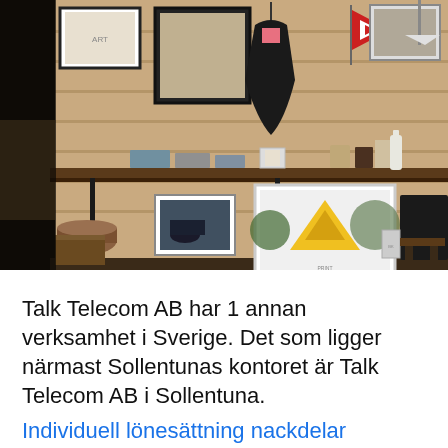[Figure (photo): Interior of a retail/lifestyle store with wooden plank walls, a long wooden counter/shelf displaying folded clothes and accessories, various framed artwork and prints on the wall, a dark blazer hanging on the wall, bags, and decorative items. On the floor below the counter are two framed prints including one with a yellow triangle design.]
Talk Telecom AB har 1 annan verksamhet i Sverige. Det som ligger närmast Sollentunas kontoret är Talk Telecom AB i Sollentuna.
Individuell lönesättning nackdelar
Talk Telecom distribuerar sedan tidigare bland annat tyska Snom, Ascom ip-dect, Gigaset och